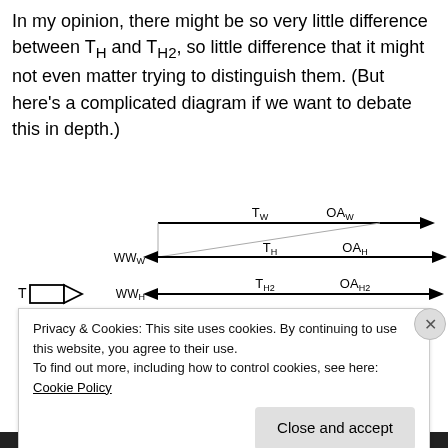In my opinion, there might be so very little difference between T_H and T_H2, so little difference that it might not even matter trying to distinguish them. (But here's a complicated diagram if we want to debate this in depth.)
[Figure (schematic): Diagram showing multiple timeline arrows labeled Tw, TH, TH2, TH3, THx with corresponding OAw, OAH, OAH2, OAH3 on the right, and WWw, WWH, WWH2, WWH2 labels on the left with arrows. A box arrow labeled T points right on the left side. A dashed arrow from OAH3 curves down-left to WWH(x-1) area.]
Privacy & Cookies: This site uses cookies. By continuing to use this website, you agree to their use.
To find out more, including how to control cookies, see here: Cookie Policy
Close and accept